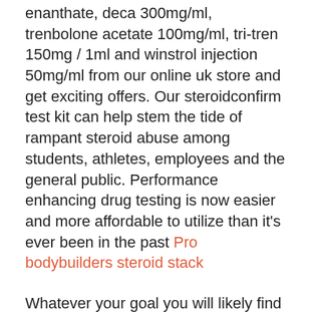enanthate, deca 300mg/ml, trenbolone acetate 100mg/ml, tri-tren 150mg / 1ml and winstrol injection 50mg/ml from our online uk store and get exciting offers. Our steroidconfirm test kit can help stem the tide of rampant steroid abuse among students, athletes, employees and the general public. Performance enhancing drug testing is now easier and more affordable to utilize than it's ever been in the past Pro bodybuilders steroid stack
Whatever your goal you will likely find a steroid, or a steroid stack to help you push towards that goal. It is true that steroids offer numerous benefits, just remember that these benefits can come at a cost, where can i buy legal steroids in south africa. Incidently, Mentzer lost to Zane in 1979 (a joke), one of the reasons? Because Zane smiled, while Mentzer had a stoic expression, where can i buy steroids in pattaya. Are you prioritizing protein in your meals? Track your macronutrient breakdown each time you eat, where can i buy legit steroids. Research suggests that omega-3 fatty acids can help reduce post-exercise muscle soreness, making it an ideal supplement